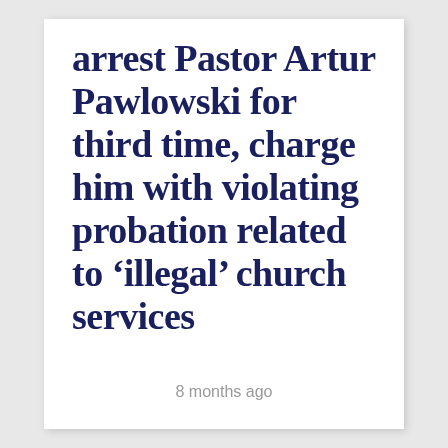arrest Pastor Artur Pawlowski for third time, charge him with violating probation related to 'illegal' church services
8 months ago